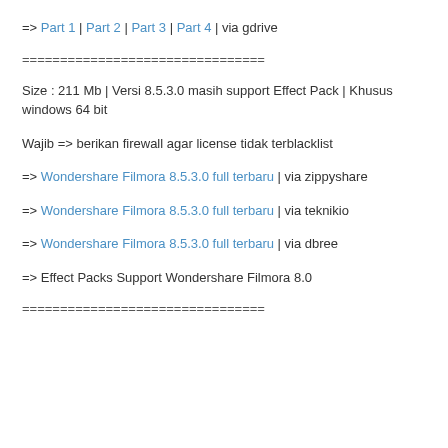=> Part 1 | Part 2 | Part 3 | Part 4 | via gdrive
================================
Size : 211 Mb | Versi 8.5.3.0 masih support Effect Pack | Khusus windows 64 bit
Wajib => berikan firewall agar license tidak terblacklist
=> Wondershare Filmora 8.5.3.0 full terbaru | via zippyshare
=> Wondershare Filmora 8.5.3.0 full terbaru | via teknikio
=> Wondershare Filmora 8.5.3.0 full terbaru | via dbree
=> Effect Packs Support Wondershare Filmora 8.0
================================